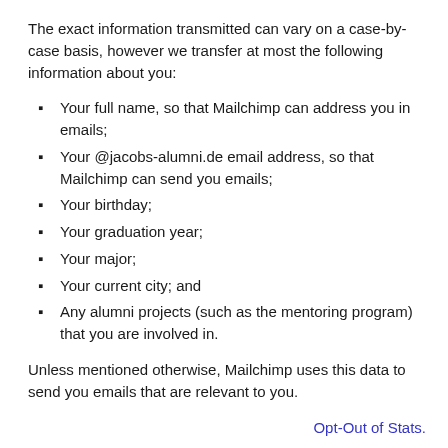The exact information transmitted can vary on a case-by-case basis, however we transfer at most the following information about you:
Your full name, so that Mailchimp can address you in emails;
Your @jacobs-alumni.de email address, so that Mailchimp can send you emails;
Your birthday;
Your graduation year;
Your major;
Your current city; and
Any alumni projects (such as the mentoring program) that you are involved in.
Unless mentioned otherwise, Mailchimp uses this data to send you emails that are relevant to you.
Opt-Out of Stats.